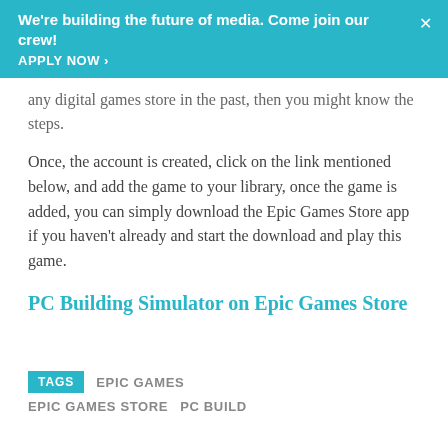We're building the future of media. Come join our crew! APPLY NOW >
any digital games store in the past, then you might know the steps.
Once, the account is created, click on the link mentioned below, and add the game to your library, once the game is added, you can simply download the Epic Games Store app if you haven't already and start the download and play this game.
PC Building Simulator on Epic Games Store
TAGS   EPIC GAMES   EPIC GAMES STORE   PC BUILD